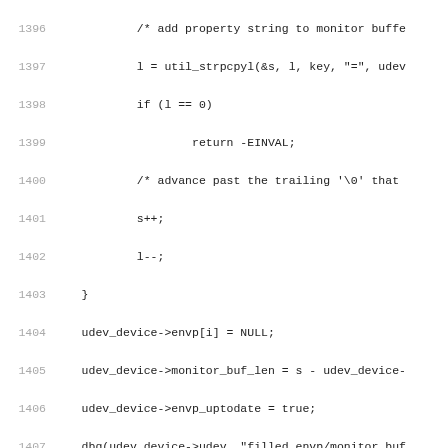[Figure (screenshot): Source code listing in C, lines 1396-1427, showing udev_device functions: update_envp_monitor_buf body continuation, udev_device_get_properties_envp, and udev_device_get_properties_monitor_buf.]